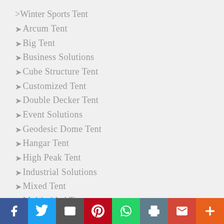>Winter Sports Tent
➤Arcum Tent
➤Big Tent
➤Business Solutions
➤Cube Structure Tent
➤Customized Tent
➤Double Decker Tent
➤Event Solutions
➤Geodesic Dome Tent
➤Hangar Tent
➤High Peak Tent
➤Industrial Solutions
➤Mixed Tent
➤Multi-sided Tent
➤Optional Accessories